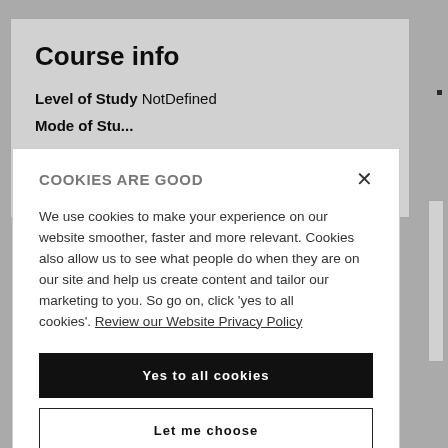Course info
Level of Study NotDefined
COOKIES ARE GOOD
We use cookies to make your experience on our website smoother, faster and more relevant. Cookies also allow us to see what people do when they are on our site and help us create content and tailor our marketing to you. So go on, click 'yes to all cookies'. Review our Website Privacy Policy
Yes to all cookies
Let me choose